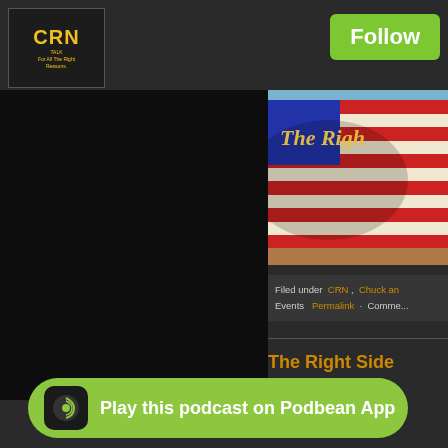[Figure (logo): CRN radio network logo, yellow text on dark background]
Follow
[Figure (photo): The Right Side podcast artwork showing American flag with italic gold text overlay]
Filed under  CRN ,  Chuck an... Events  Permalink  ·  Comme...
The Right Side
Dersh. Ep. 109
11:33 AM
Play this podcast on Podbean App